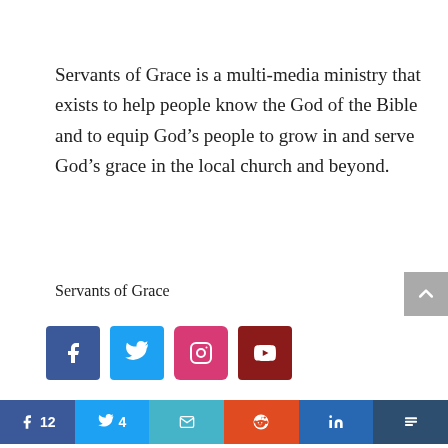Servants of Grace is a multi-media ministry that exists to help people know the God of the Bible and to equip God's people to grow in and serve God's grace in the local church and beyond.
Servants of Grace
[Figure (other): Social media icon buttons: Facebook (blue), Twitter (light blue), Instagram (pink/red), YouTube (dark red)]
[Figure (other): Share bar with buttons: Facebook 12, Twitter 4, Email, Reddit, LinkedIn, Buffer]